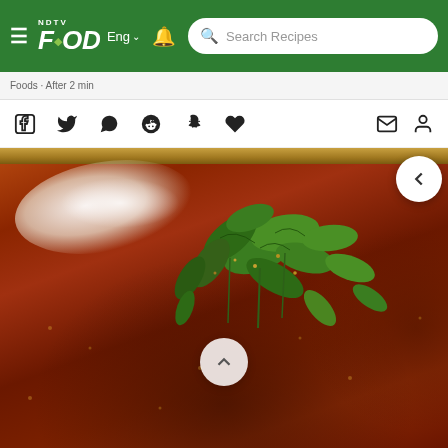NDTV FOOD — Navigation bar with Search Recipes and Eng language selector
Foods · After 2 min
[Figure (screenshot): Social media sharing icons row: Facebook, Twitter, WhatsApp, Reddit, Snapchat, leaf/share icon on left; mail and user icons on right]
[Figure (photo): Close-up photo of Indian curry dish (likely Dal Makhani or Rajma) in a brass/copper bowl, garnished with fresh coriander/cilantro leaves and a dollop of cream, with a circular scroll-up button overlay and a back navigation button in the top right.]